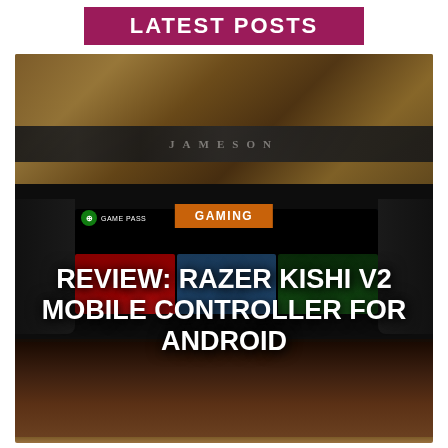LATEST POSTS
[Figure (photo): Photo of a Razer Kishi V2 mobile gaming controller attached to an Android phone, showing Xbox Game Pass interface on the screen. The controller is placed on a wooden table with a bar/restaurant setting in the background.]
REVIEW: RAZER KISHI V2 MOBILE CONTROLLER FOR ANDROID
GAMING